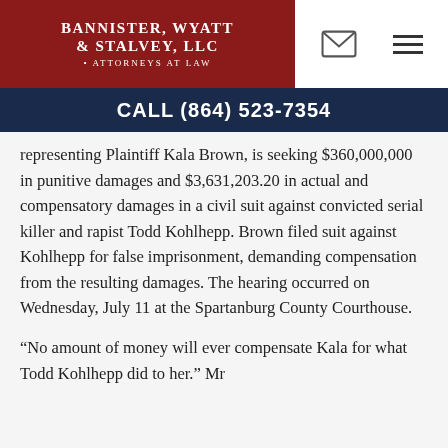Bannister, Wyatt & Stalvey, LLC — Attorneys At Law
CALL (864) 523-7354
representing Plaintiff Kala Brown, is seeking $360,000,000 in punitive damages and $3,631,203.20 in actual and compensatory damages in a civil suit against convicted serial killer and rapist Todd Kohlhepp. Brown filed suit against Kohlhepp for false imprisonment, demanding compensation from the resulting damages. The hearing occurred on Wednesday, July 11 at the Spartanburg County Courthouse.
“No amount of money will ever compensate Kala for what Todd Kohlhepp did to her.” Mr